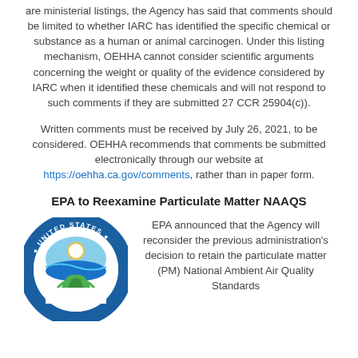are ministerial listings, the Agency has said that comments should be limited to whether IARC has identified the specific chemical or substance as a human or animal carcinogen. Under this listing mechanism, OEHHA cannot consider scientific arguments concerning the weight or quality of the evidence considered by IARC when it identified these chemicals and will not respond to such comments if they are submitted 27 CCR 25904(c)).
Written comments must be received by July 26, 2021, to be considered. OEHHA recommends that comments be submitted electronically through our website at https://oehha.ca.gov/comments, rather than in paper form.
EPA to Reexamine Particulate Matter NAAQS
[Figure (logo): United States Environmental Protection Agency circular seal logo with blue and green colors]
EPA announced that the Agency will reconsider the previous administration's decision to retain the particulate matter (PM) National Ambient Air Quality Standards